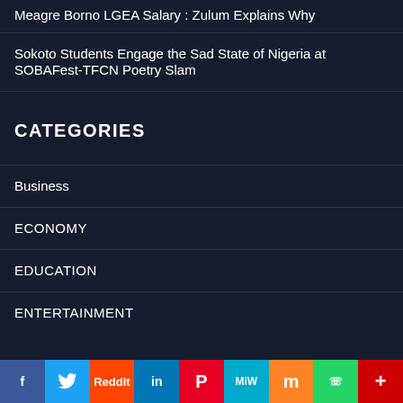Meagre Borno LGEA Salary : Zulum Explains Why
Sokoto Students Engage the Sad State of Nigeria at SOBAFest-TFCN Poetry Slam
CATEGORIES
Business
ECONOMY
EDUCATION
ENTERTAINMENT
f  Twitter  Reddit  in  Pinterest  MiW  Mix  WhatsApp  More